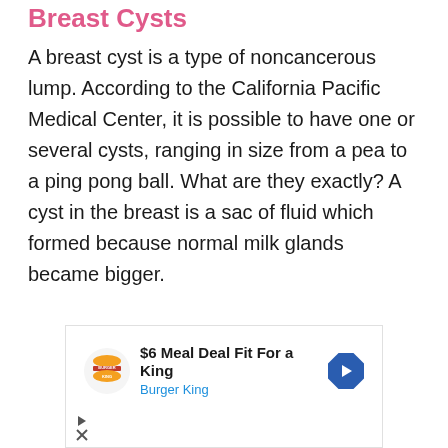Breast Cysts
A breast cyst is a type of noncancerous lump. According to the California Pacific Medical Center, it is possible to have one or several cysts, ranging in size from a pea to a ping pong ball. What are they exactly? A cyst in the breast is a sac of fluid which formed because normal milk glands became bigger.
[Figure (other): Burger King advertisement banner: '$6 Meal Deal Fit For a King' with Burger King logo and a blue directional arrow icon]